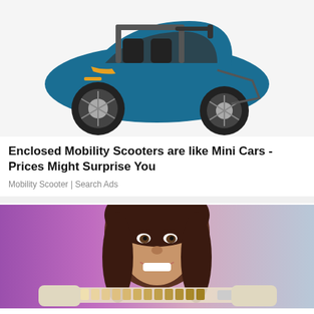[Figure (photo): A blue futuristic enclosed mobility scooter/three-wheel electric vehicle with a cabin, viewed from the front-right angle on a white background.]
Enclosed Mobility Scooters are like Mini Cars - Prices Might Surprise You
Mobility Scooter | Search Ads
[Figure (photo): A smiling young woman with long brown hair sitting in a dental chair, with a gloved hand holding a dental shade guide (tooth color samples) in front of her mouth.]
Cost Of Dental Implants In Dubai Might Surprise You